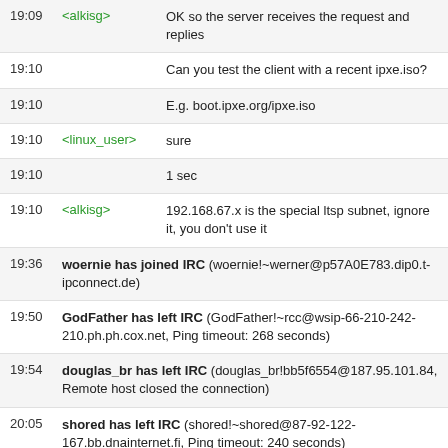19:09 <alkisg> OK so the server receives the request and replies
19:10  Can you test the client with a recent ipxe.iso?
19:10  E.g. boot.ipxe.org/ipxe.iso
19:10 <linux_user> sure
19:10  1 sec
19:10 <alkisg> 192.168.67.x is the special ltsp subnet, ignore it, you don't use it
19:36  woernie has joined IRC (woernie!~werner@p57A0E783.dip0.t-ipconnect.de)
19:50  GodFather has left IRC (GodFather!~rcc@wsip-66-210-242-210.ph.ph.cox.net, Ping timeout: 268 seconds)
19:54  douglas_br has left IRC (douglas_br!bb5f6554@187.95.101.84, Remote host closed the connection)
20:05  shored has left IRC (shored!~shored@87-92-122-167.bb.dnainternet.fi, Ping timeout: 240 seconds)